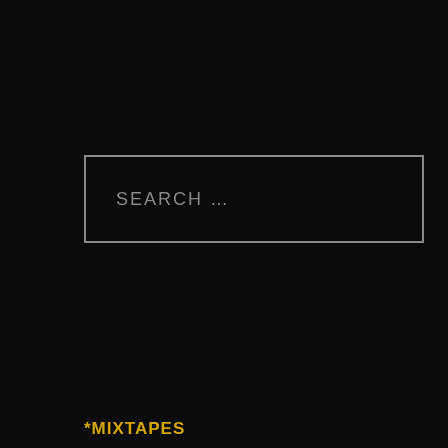[Figure (screenshot): Search input box with placeholder text 'SEARCH ...' on black background with grey border]
*MIXTAPES
AFROBEAT
AMAPIANO
DANCEHALL
DJ DROPS/LOOPS
EDM
GOSPEL
HIP HOP